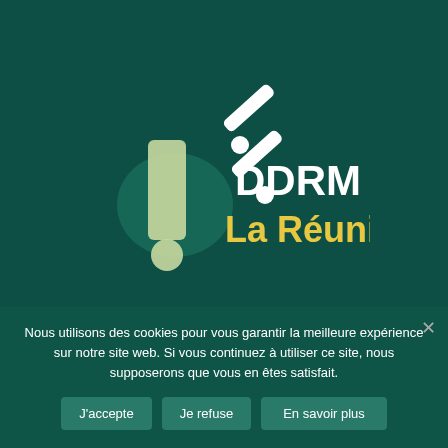[Figure (logo): DDRM La Réunion logo — dark teal background with stylized exclamation mark and percent/slash symbol in white and yellow, with island silhouette, text 'DDRM' in white and 'La Réunion' in yellow]
Accès rapide
DDRM
Contact
Mentions légales
Nous utilisons des cookies pour vous garantir la meilleure expérience sur notre site web. Si vous continuez à utiliser ce site, nous supposerons que vous en êtes satisfait.
J'accepte | Je refuse | En savoir plus